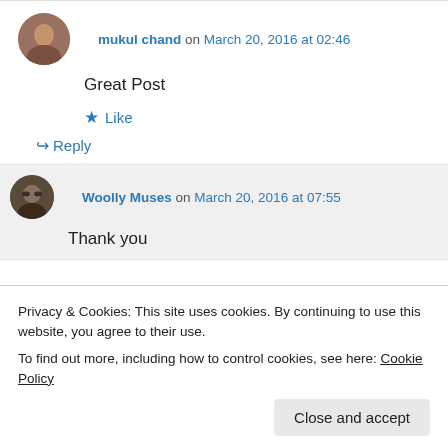mukul chand on March 20, 2016 at 02:46
Great Post
★ Like
↪ Reply
Woolly Muses on March 20, 2016 at 07:55
Thank you
Privacy & Cookies: This site uses cookies. By continuing to use this website, you agree to their use.
To find out more, including how to control cookies, see here: Cookie Policy
Close and accept